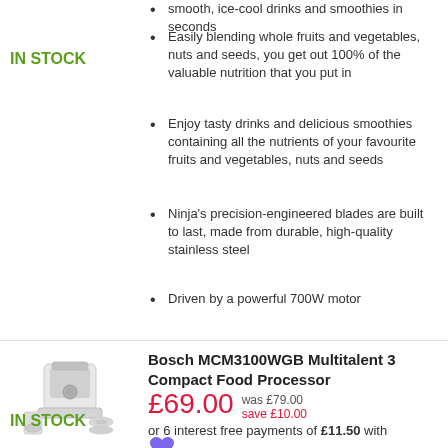smooth, ice-cool drinks and smoothies in seconds
Easily blending whole fruits and vegetables, nuts and seeds, you get out 100% of the valuable nutrition that you put in
Enjoy tasty drinks and delicious smoothies containing all the nutrients of your favourite fruits and vegetables, nuts and seeds
Ninja's precision-engineered blades are built to last, made from durable, high-quality stainless steel
Driven by a powerful 700W motor
IN STOCK
[Figure (photo): Bosch MCM3100WGB Multitalent 3 Compact Food Processor product image showing white food processor with accessories]
Bosch MCM3100WGB Multitalent 3 Compact Food Processor
£69.00 was £79.00 save £10.00
or 6 interest free payments of £11.50 with
IN STOCK
More than 20 functions: accessories included for chopping, grating and more